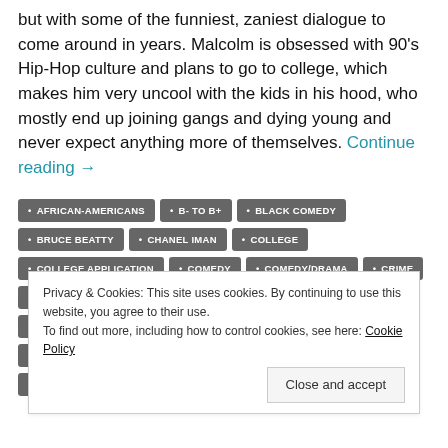but with some of the funniest, zaniest dialogue to come around in years. Malcolm is obsessed with 90's Hip-Hop culture and plans to go to college, which makes him very uncool with the kids in his hood, who mostly end up joining gangs and dying young and never expect anything more of themselves. Continue reading →
AFRICAN-AMERICANS
B- TO B+
BLACK COMEDY
BRUCE BEATTY
CHANEL IMAN
COLLEGE
COLLEGE APPLICATION
COMEDY
COMEDY/DRAMA
CRIME
DE'AUNDRE BONDS
DRAMA
DRAMEDY
DRUG ABUSE
DRUG DEALING
GANGS
GLBTQ ISSUES
HIP-HOP
KIERSEY CLEMONS
KIMBERLY ELISE
LESBIANS
MASTURBATION
Privacy & Cookies: This site uses cookies. By continuing to use this website, you agree to their use. To find out more, including how to control cookies, see here: Cookie Policy